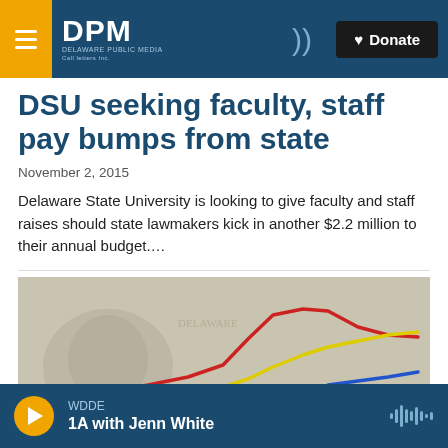DPM — Delaware Public Media | Donate
DSU seeking faculty, staff pay bumps from state
November 2, 2015
Delaware State University is looking to give faculty and staff raises should state lawmakers kick in another $2.2 million to their annual budget....
[Figure (illustration): A line chart overlay on a currency/money background showing multiple colored trend lines (red, yellow, blue) indicating financial data trends.]
WDDE — 1A with Jenn White